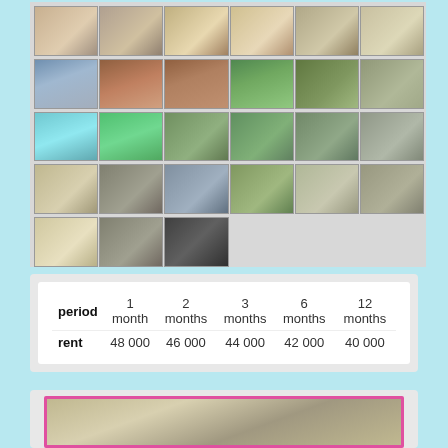[Figure (photo): Grid of 27 property photos showing bedrooms, living rooms, kitchen, pool, garden, exterior, and interior areas of a rental property]
| period | 1 month | 2 months | 3 months | 6 months | 12 months |
| --- | --- | --- | --- | --- | --- |
| rent | 48 000 | 46 000 | 44 000 | 42 000 | 40 000 |
[Figure (photo): Interior room photo with pink border frame, showing a room with pendant light and furniture]